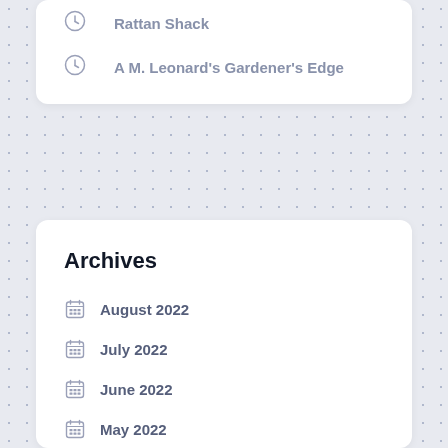Rattan Shack
A M. Leonard's Gardener's Edge
Archives
August 2022
July 2022
June 2022
May 2022
April 2022
March 2022
February 2022